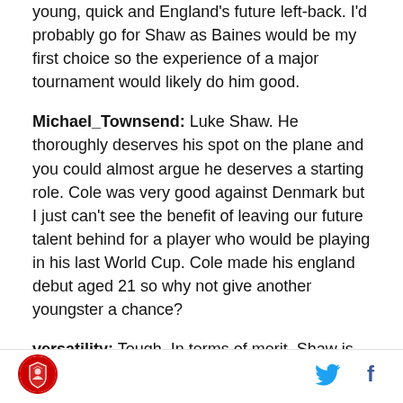young, quick and England's future left-back. I'd probably go for Shaw as Baines would be my first choice so the experience of a major tournament would likely do him good.
Michael_Townsend: Luke Shaw. He thoroughly deserves his spot on the plane and you could almost argue he deserves a starting role. Cole was very good against Denmark but I just can't see the benefit of leaving our future talent behind for a player who would be playing in his last World Cup. Cole made his england debut aged 21 so why not give another youngster a chance?
versatility: Tough. In terms of merit, Shaw is deserving
[Figure (logo): Red circular logo with crest/badge design in the footer]